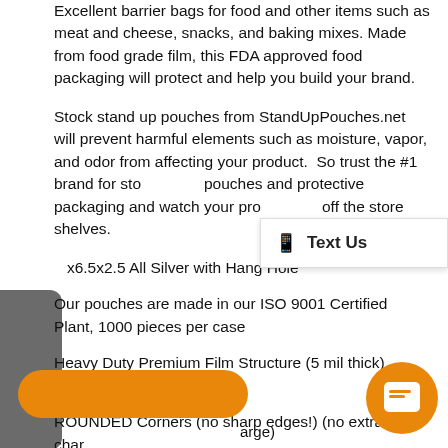Excellent barrier bags for food and other items such as meat and cheese, snacks, and baking mixes. Made from food grade film, this FDA approved food packaging will protect and help you build your brand.
Stock stand up pouches from StandUpPouches.net will prevent harmful elements such as moisture, vapor, and odor from affecting your product. So trust the #1 brand for stock pouches and protective packaging and watch your products fly off the store shelves.
x6.5x2.5 All Silver with Hang Hole
Our pouches are made in our ISO 9001 Certified Plant, 1000 pieces per case
Heavy Duty Premium Film Structure (5 mil thick) (NYLON IN STRUCTURE!!)
ROUNDED Corners (no sharp edges!) (no extra charg
arge)